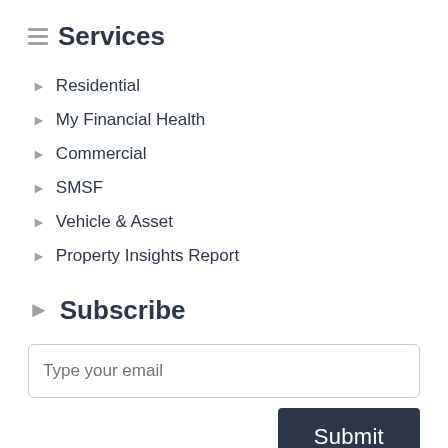Services
Residential
My Financial Health
Commercial
SMSF
Vehicle & Asset
Property Insights Report
Subscribe
Type your email
Submit